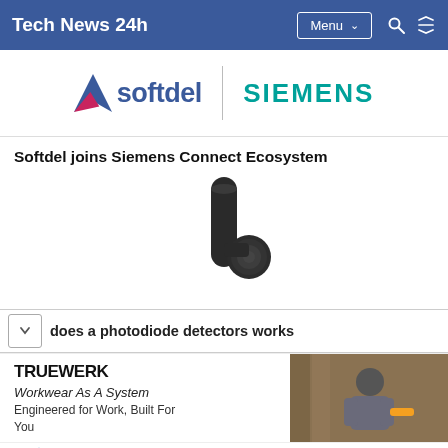Tech News 24h
[Figure (logo): Softdel and Siemens logos side by side with vertical divider]
Softdel joins Siemens Connect Ecosystem
[Figure (photo): Dark metallic cylindrical device resembling a photodiode detector with a round side element]
does a photodiode detectors works
[Figure (other): Truewerk advertisement: Workwear As A System, Engineered for Work, Built For You, with photo of worker]
Workwear As A System Engineered for Work, Built For You